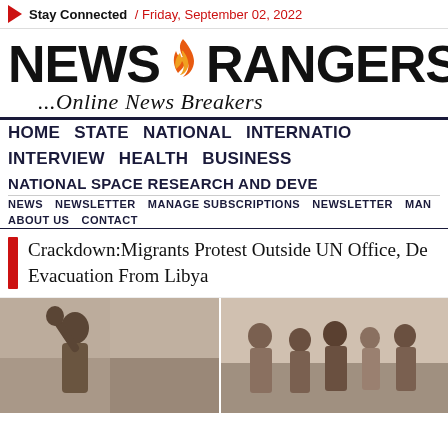Stay Connected / Friday, September 02, 2022
NEWS RANGERS ...Online News Breakers
HOME STATE NATIONAL INTERNATIONO INTERVIEW HEALTH BUSINESS NATIONAL SPACE RESEARCH AND DEVE NEWS NEWSLETTER MANAGE SUBSCRIPTIONS NEWSLETTER MAN ABOUT US CONTACT
Crackdown:Migrants Protest Outside UN Office, De Evacuation From Libya
[Figure (photo): Photograph of migrants, showing people in a street scene, split into two panels side by side]